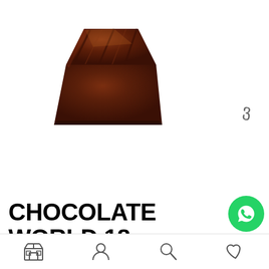[Figure (photo): A dark chocolate piece/block shaped like a trapezoid/pyramid with ridged top surface, glossy finish, on white background]
CHOCOLATE WORLD 18... JEON SANG KYUN
[Figure (logo): WhatsApp green circular button with white phone icon]
[Figure (other): Bottom navigation bar with store icon, user/account icon, search icon, and heart/favorites icon]